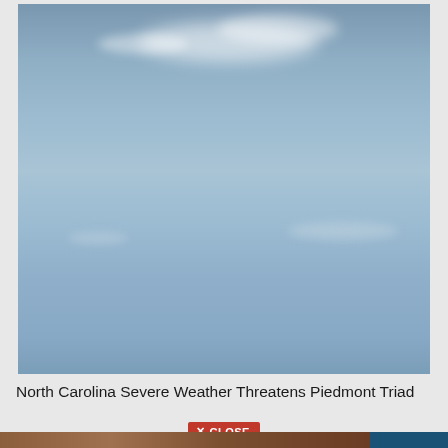[Figure (photo): Outdoor sky photograph showing a blue-grey sky with scattered white clouds, taken outdoors during daytime.]
North Carolina Severe Weather Threatens Piedmont Triad
[Figure (other): Close button overlay UI element with red background reading X CLOSE, followed by a partial thumbnail strip at the bottom of the page.]